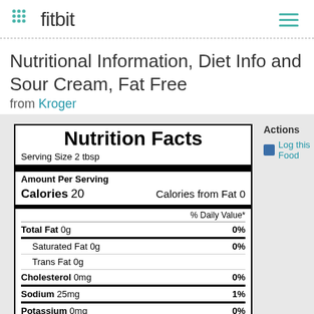fitbit
Nutritional Information, Diet Info and Sour Cream, Fat Free from Kroger
| Nutrient | Amount | % Daily Value |
| --- | --- | --- |
| Serving Size 2 tbsp |  |  |
| Amount Per Serving |  |  |
| Calories 20 | Calories from Fat 0 |  |
| % Daily Value* |  |  |
| Total Fat 0g |  | 0% |
| Saturated Fat 0g |  | 0% |
| Trans Fat 0g |  |  |
| Cholesterol 0mg |  | 0% |
| Sodium 25mg |  | 1% |
| Potassium 0mg |  | 0% |
Actions
Log this Food